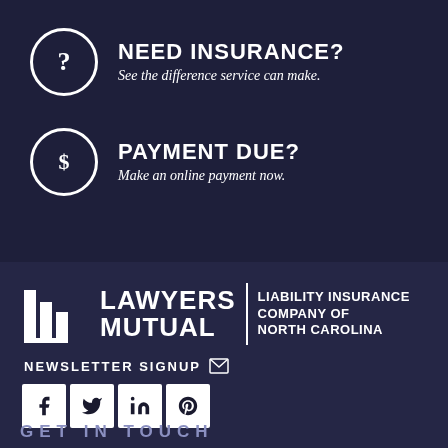NEED INSURANCE?
PAYMENT DUE?
[Figure (logo): Lawyers Mutual Liability Insurance Company of North Carolina logo with bar-chart icon]
NEWSLETTER SIGNUP
[Figure (infographic): Social media buttons: Facebook, Twitter, LinkedIn, Pinterest]
GET IN TOUCH